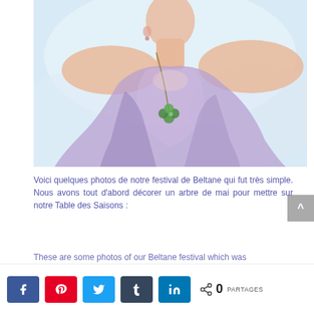[Figure (illustration): Watercolor painting of a woman wearing a purple dress with a green clover/flower pendant necklace. The figure is shown from neck to torso against a light blue and white background.]
Voici quelques photos de notre festival de Beltane qui fut très simple. Nous avons tout d'abord décorer un arbre de mai pour mettre sur notre Table des Saisons :
These are some photos of our Beltane festival which was